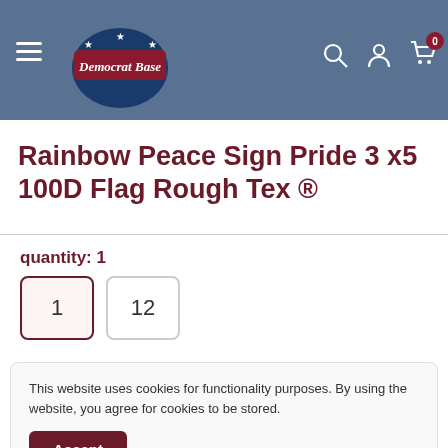[Figure (logo): Democrat Base logo with red banner and blue circular badge with stars]
Rainbow Peace Sign Pride 3 x5 100D Flag Rough Tex ®
quantity: 1
Cookie notice: This website uses cookies for functionality purposes. By using the website, you agree for cookies to be stored. Accept